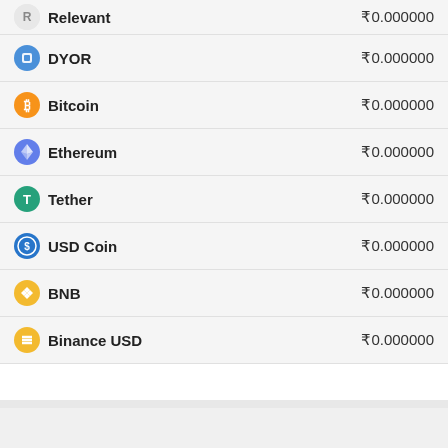| Coin | Value |
| --- | --- |
| Relevant | ₹0.000000 |
| DYOR | ₹0.000000 |
| Bitcoin | ₹0.000000 |
| Ethereum | ₹0.000000 |
| Tether | ₹0.000000 |
| USD Coin | ₹0.000000 |
| BNB | ₹0.000000 |
| Binance USD | ₹0.000000 |